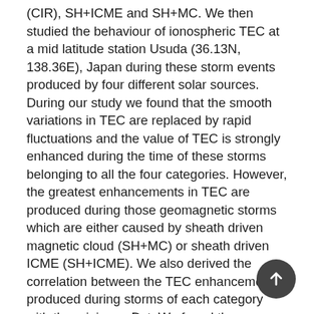(CIR), SH+ICME and SH+MC. We then studied the behaviour of ionospheric TEC at a mid latitude station Usuda (36.13N, 138.36E), Japan during these storm events produced by four different solar sources. During our study we found that the smooth variations in TEC are replaced by rapid fluctuations and the value of TEC is strongly enhanced during the time of these storms belonging to all the four categories. However, the greatest enhancements in TEC are produced during those geomagnetic storms which are either caused by sheath driven magnetic cloud (SH+MC) or sheath driven ICME (SH+ICME). We also derived the correlation between the TEC enhancements produced during storms of each category with the minimum Dst. We found the strongest correlation exists for the SH+ICME category followed by SH+MC, MC and finally CIR. Since the most intense storms were either